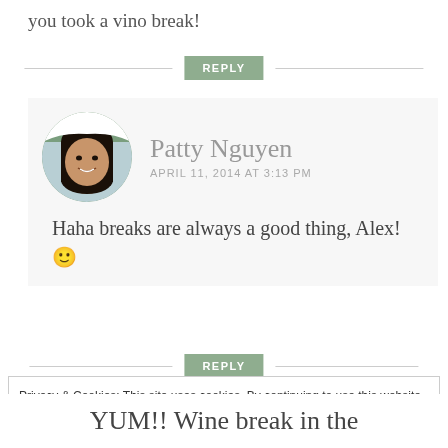you took a vino break!
REPLY
Patty Nguyen
APRIL 11, 2014 AT 3:13 PM
Haha breaks are always a good thing, Alex! 🙂
REPLY
Privacy & Cookies: This site uses cookies. By continuing to use this website, you agree to their use.
To find out more, including how to control cookies, see here: Cookie Policy
Close and accept
YUM!! Wine break in the